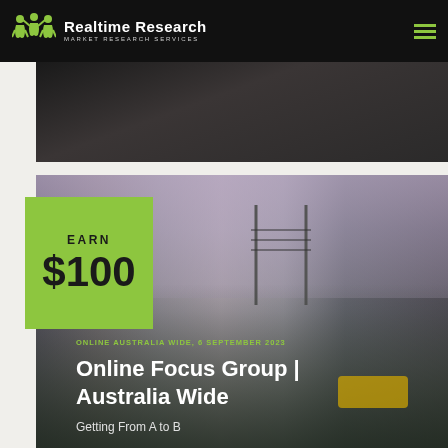Realtime Research - Market Research Services
[Figure (photo): Dark blurred photo background at top]
[Figure (photo): Blurred city street photo with taxi and traffic lights, showing urban transportation scene]
EARN $100
ONLINE AUSTRALIA WIDE, 6 SEPTEMBER 2023
Online Focus Group | Australia Wide
Getting From A to B